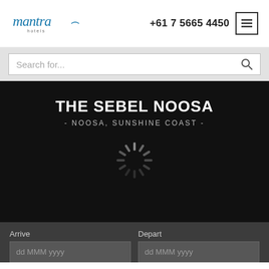[Figure (logo): Mantra Hotels logo in blue italic script with 'hotels' text below]
+61 7 5665 4450
[Figure (illustration): Hamburger menu icon button with three horizontal lines]
Search for...
THE SEBEL NOOSA
- NOOSA, SUNSHINE COAST -
[Figure (illustration): Loading spinner / activity indicator graphic]
Arrive
dd MMM yyyy
Depart
dd MMM yyyy